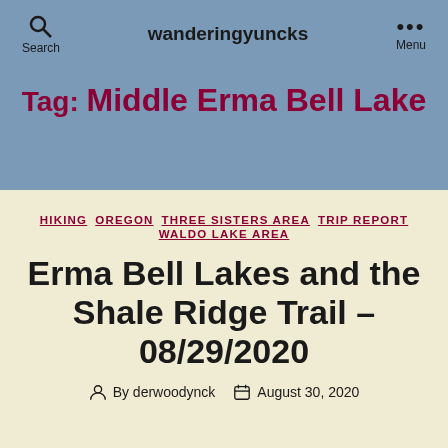wanderingyuncks
Tag: Middle Erma Bell Lake
HIKING  OREGON  THREE SISTERS AREA  TRIP REPORT  WALDO LAKE AREA
Erma Bell Lakes and the Shale Ridge Trail – 08/29/2020
By derwoodynck  August 30, 2020